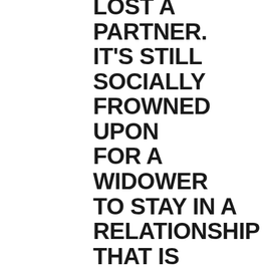LOST A PARTNER. IT'S STILL SOCIALLY FROWNED UPON FOR A WIDOWER TO STAY IN A RELATIONSHIP THAT IS ROMANTIC HE'S GOT LOST THEIR PARTNER. THEREFORE, POSSIBLY TO BE SOCIALLY ACCEPTED, OR EVEN SHARE THE SAME GRIEF ASSOCIATED WITH